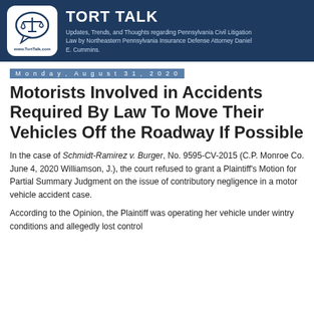TORT TALK — Updates, Trends, and Thoughts regarding Pennsylvania Civil Litigation Law by Northeastern Pennsylvania Insurance Defense Attorney Daniel E. Cummins.
Monday, August 31, 2020
Motorists Involved in Accidents Required By Law To Move Their Vehicles Off the Roadway If Possible
In the case of Schmidt-Ramirez v. Burger, No. 9595-CV-2015 (C.P. Monroe Co. June 4, 2020 Williamson, J.), the court refused to grant a Plaintiff's Motion for Partial Summary Judgment on the issue of contributory negligence in a motor vehicle accident case.
According to the Opinion, the Plaintiff was operating her vehicle under wintry conditions and allegedly lost control